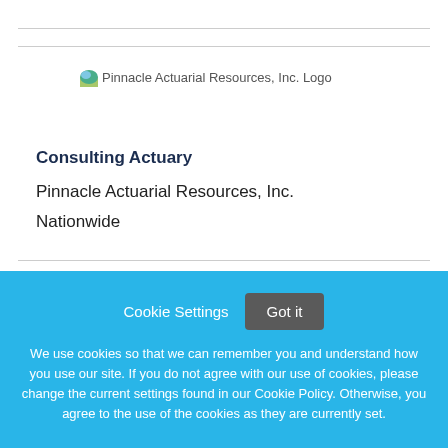[Figure (logo): Pinnacle Actuarial Resources, Inc. Logo]
Consulting Actuary
Pinnacle Actuarial Resources, Inc.
Nationwide
Cookie Settings   Got it

We use cookies so that we can remember you and understand how you use our site. If you do not agree with our use of cookies, please change the current settings found in our Cookie Policy. Otherwise, you agree to the use of the cookies as they are currently set.